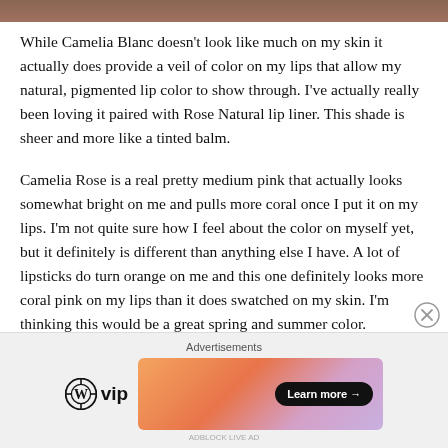[Figure (photo): Partial image strip at the top of the page, brownish/skin tone color]
While Camelia Blanc doesn't look like much on my skin it actually does provide a veil of color on my lips that allow my natural, pigmented lip color to show through. I've actually really been loving it paired with Rose Natural lip liner. This shade is sheer and more like a tinted balm.
Camelia Rose is a real pretty medium pink that actually looks somewhat bright on me and pulls more coral once I put it on my lips. I'm not quite sure how I feel about the color on myself yet, but it definitely is different than anything else I have. A lot of lipsticks do turn orange on me and this one definitely looks more coral pink on my lips than it does swatched on my skin. I'm thinking this would be a great spring and summer color.
[Figure (infographic): Advertisement bar at the bottom with WordPress VIP logo and a colorful Learn more banner ad]
Advertisements